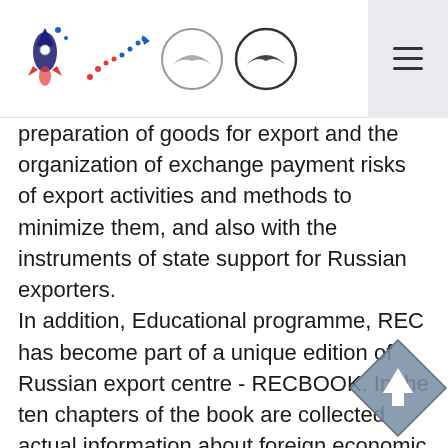[Navigation header with logos and hamburger menu]
preparation of goods for export and the organization of exchange payment risks of export activities and methods to minimize them, and also with the instruments of state support for Russian exporters. In addition, Educational programme, REC has become part of a unique edition of Russian export centre - RECBOOK. In the ten chapters of the book are collected actual information about foreign economic activity of our country, the strategic directions of development of Russian export, insurance, credit, warranty and non-financial products Group REC. RECBOOK have evolved from Board books to the Group's employees REC to encyclopedia for export, which will be of interest to anyone who wants to